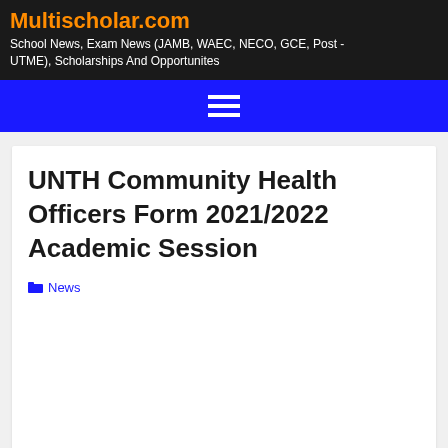Multischolar.com
School News, Exam News (JAMB, WAEC, NECO, GCE, Post - UTME), Scholarships And Opportunites
UNTH Community Health Officers Form 2021/2022 Academic Session
News